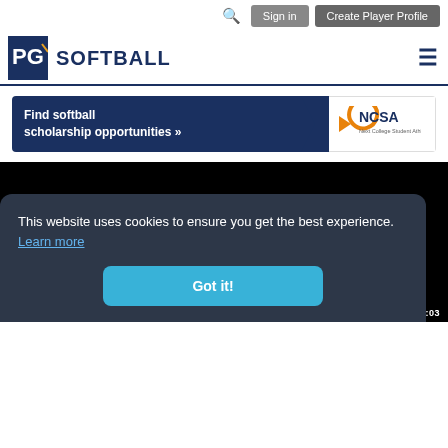Sign in | Create Player Profile
PG SOFTBALL
[Figure (infographic): NCSA banner: Find softball scholarship opportunities with NCSA Next College Student Athlete logo]
[Figure (screenshot): Black video player area with play button and bottom bar showing PG SHOWCASE BENEFITS and timer 02:03]
This website uses cookies to ensure you get the best experience. Learn more
Got it!